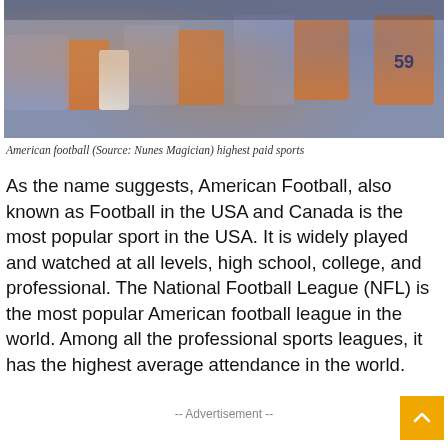[Figure (photo): American football players and fans in orange and grey/blue uniforms crowded together, likely after a game or on the sidelines]
American football (Source: Nunes Magician) highest paid sports
As the name suggests, American Football, also known as Football in the USA and Canada is the most popular sport in the USA. It is widely played and watched at all levels, high school, college, and professional. The National Football League (NFL) is the most popular American football league in the world. Among all the professional sports leagues, it has the highest average attendance in the world.
-- Advertisement --